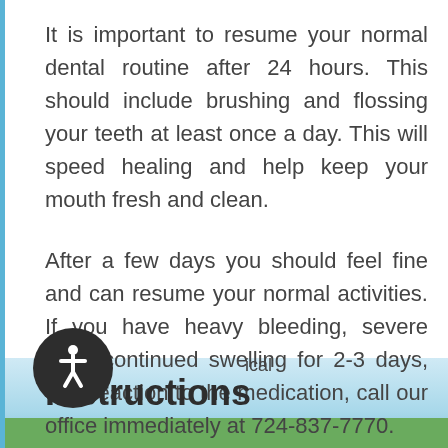It is important to resume your normal dental routine after 24 hours. This should include brushing and flossing your teeth at least once a day. This will speed healing and help keep your mouth fresh and clean.
After a few days you should feel fine and can resume your normal activities. If you have heavy bleeding, severe pain, continued swelling for 2-3 days, or a reaction to the medication, call our office immediately at 724-837-7770.
ical
Instructions